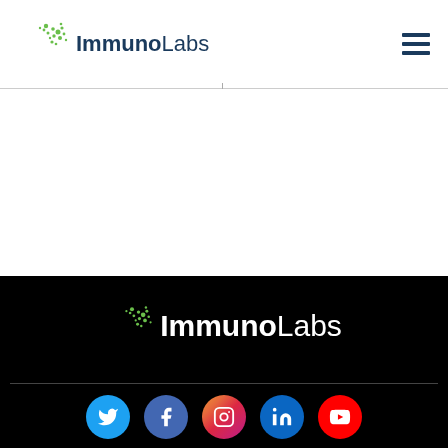[Figure (logo): ImmunoLabs logo in header — dark navy 'Immuno' bold and 'Labs' light with green molecular dot graphic above]
[Figure (logo): ImmunoLabs logo in footer on black background — white 'Immuno' bold and 'Labs' light with green molecular dot graphic]
[Figure (infographic): Row of five social media icons: Twitter (blue), Facebook (dark blue), Instagram (gradient purple/pink), LinkedIn (blue), YouTube (red)]